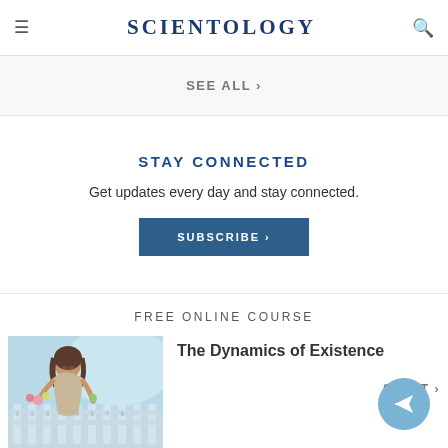≡  SCIENTOLOGY  🔍
SEE ALL ›
STAY CONNECTED
Get updates every day and stay connected.
SUBSCRIBE ›
FREE ONLINE COURSE
[Figure (photo): Woman arranging flowers at a white picket fence, outdoors with bright background]
The Dynamics of Existence
START ›